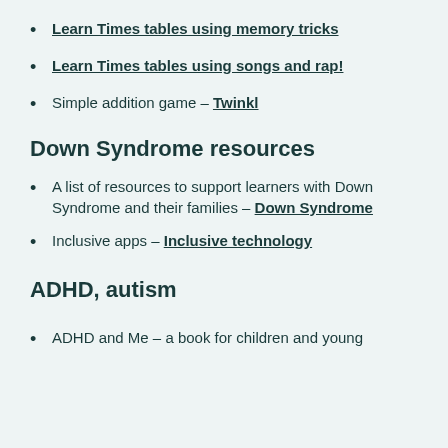Learn Times tables using memory tricks
Learn Times tables using songs and rap!
Simple addition game - Twinkl
Down Syndrome resources
A list of resources to support learners with Down Syndrome and their families - Down Syndrome
Inclusive apps - Inclusive technology
ADHD, autism
ADHD and Me - a book for children and young